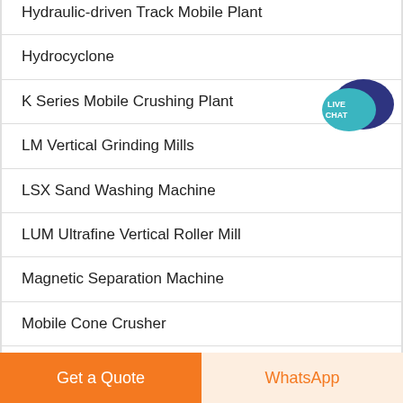Hydraulic-driven Track Mobile Plant
Hydrocyclone
K Series Mobile Crushing Plant
LM Vertical Grinding Mills
LSX Sand Washing Machine
LUM Ultrafine Vertical Roller Mill
Magnetic Separation Machine
Mobile Cone Crusher
Mobile Impact Crusher
[Figure (other): Live Chat speech bubble icon with dark blue and teal colors, text LIVE CHAT]
Get a Quote
WhatsApp